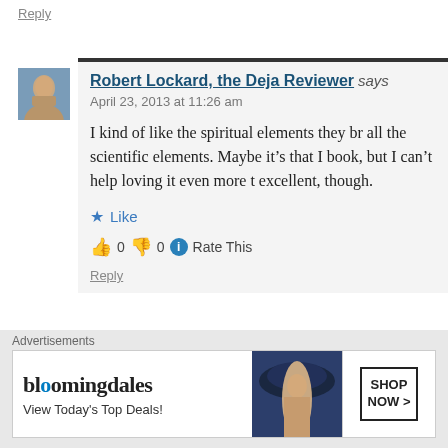Reply
Robert Lockard, the Deja Reviewer says
April 23, 2013 at 11:26 am
I kind of like the spiritual elements they bro all the scientific elements. Maybe it's that I book, but I can't help loving it even more th excellent, though.
Like
👍 0 👎 0 ℹ Rate This
Reply
Advertisements
[Figure (illustration): Bloomingdales advertisement banner: 'View Today's Top Deals!' with a woman in a large hat and 'SHOP NOW >' button]